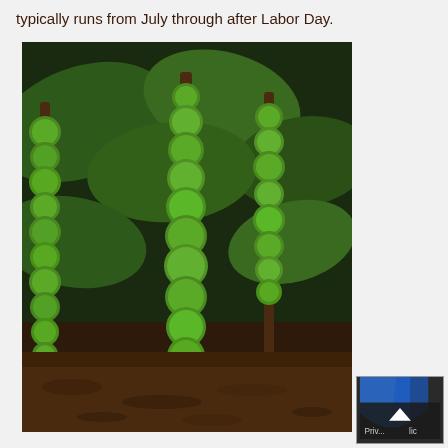typically runs from July through after Labor Day.
[Figure (photo): Close-up photograph of Brussels sprouts plants growing on tall stalks, covered densely with green sprouts, with large green leaves in the background and soil visible at the base.]
[Figure (screenshot): Small UI element in bottom-right corner showing a blue shape partially visible, a dark overlay with an upward-pointing chevron/arrow icon, and truncated text 'Priv...lic' at the bottom.]